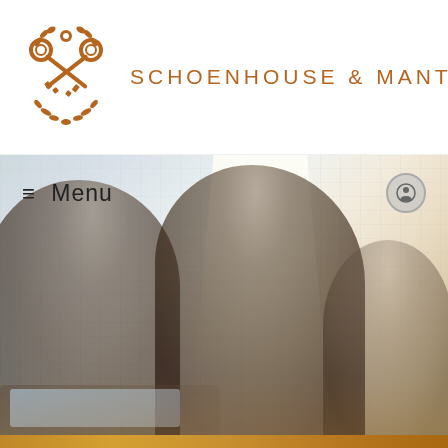[Figure (logo): Schoenhouse & Manter law firm logo: crossed keys ornamental emblem in brown/copper color]
SCHOENHOUSE & MANTER
≡  Menu
[Figure (photo): Professional photo of business people consulting over documents/tablet with city skyline in background, warm golden light overlay with translucent white light column effect]